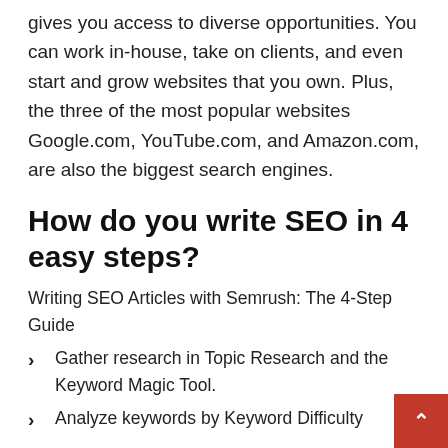gives you access to diverse opportunities. You can work in-house, take on clients, and even start and grow websites that you own. Plus, the three of the most popular websites Google.com, YouTube.com, and Amazon.com, are also the biggest search engines.
How do you write SEO in 4 easy steps?
Writing SEO Articles with Semrush: The 4-Step Guide
Gather research in Topic Research and the Keyword Magic Tool.
Analyze keywords by Keyword Difficulty